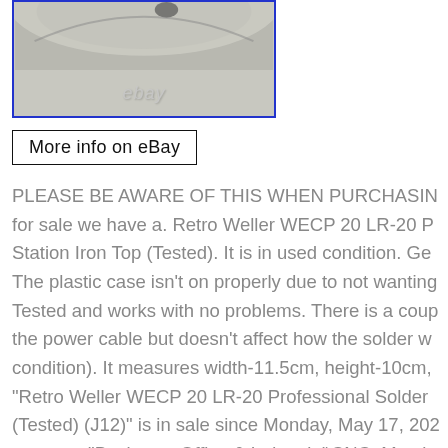[Figure (photo): Close-up photo of a curved metallic/ceramic object on grey background with 'ebay' watermark, framed in blue border.]
[Figure (screenshot): A button/link image reading 'More info on eBay' with a black border rectangle.]
PLEASE BE AWARE OF THIS WHEN PURCHASING for sale we have a. Retro Weller WECP 20 LR-20 P Station Iron Top (Tested). It is in used condition. Ge The plastic case isn't on properly due to not wanting Tested and works with no problems. There is a coup the power cable but doesn't affect how the solder w condition). It measures width-11.5cm, height-10cm, "Retro Weller WECP 20 LR-20 Professional Solder (Tested) (J12)" is in sale since Monday, May 17, 202 category "Business, Office & Industrial\CNC, Metal